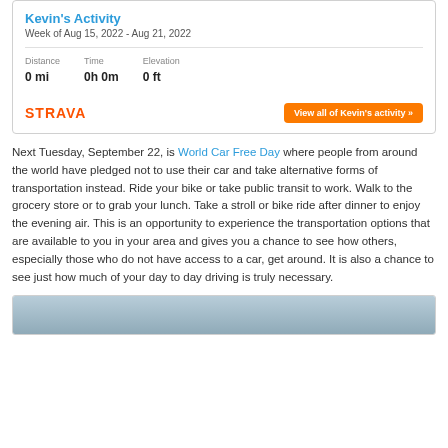Kevin's Activity
Week of Aug 15, 2022 - Aug 21, 2022
| Distance | Time | Elevation |
| --- | --- | --- |
| 0 mi | 0h 0m | 0 ft |
[Figure (logo): Strava logo in orange with button 'View all of Kevin's activity »']
Next Tuesday, September 22, is World Car Free Day where people from around the world have pledged not to use their car and take alternative forms of transportation instead. Ride your bike or take public transit to work. Walk to the grocery store or to grab your lunch. Take a stroll or bike ride after dinner to enjoy the evening air. This is an opportunity to experience the transportation options that are available to you in your area and gives you a chance to see how others, especially those who do not have access to a car, get around. It is also a chance to see just how much of your day to day driving is truly necessary.
[Figure (photo): Partial photo with blue/grey sky tones at bottom of page]